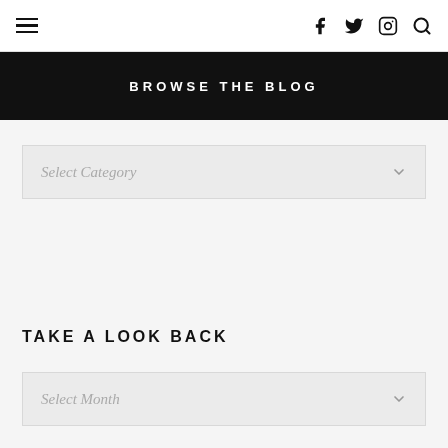≡  [facebook] [twitter] [instagram] [search]
BROWSE THE BLOG
Select Category
TAKE A LOOK BACK
Select Month